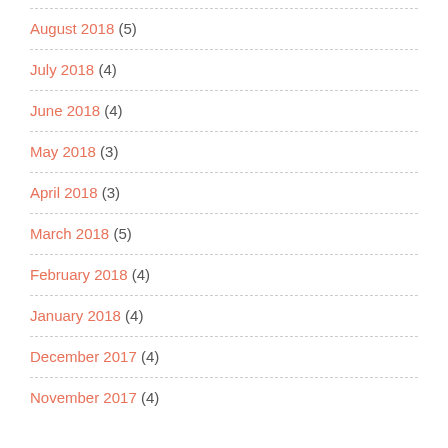August 2018 (5)
July 2018 (4)
June 2018 (4)
May 2018 (3)
April 2018 (3)
March 2018 (5)
February 2018 (4)
January 2018 (4)
December 2017 (4)
November 2017 (4)